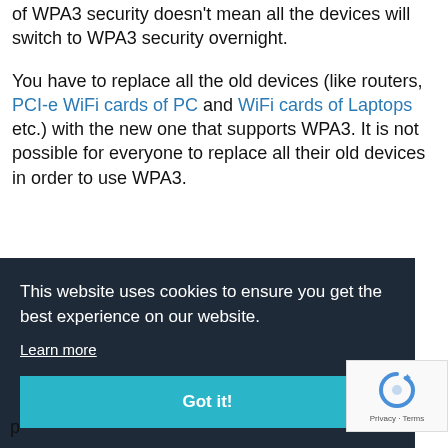of WPA3 security doesn't mean all the devices will switch to WPA3 security overnight.
You have to replace all the old devices (like routers, PCI-e WiFi cards of PC and WiFi cards of Laptops etc.) with the new one that supports WPA3. It is not possible for everyone to replace all their old devices in order to use WPA3.
This website uses cookies to ensure you get the best experience on our website. Learn more Got it!